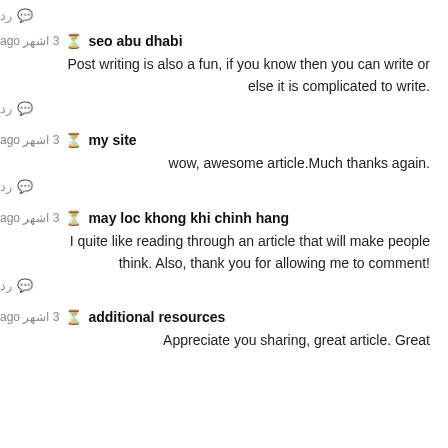رد (reply icon at top)
seo abu dhabi  ⏱ 3 اشهر ago
Post writing is also a fun, if you know then you can write or else it is complicated to write.
رد
my site  ⏱ 3 اشهر ago
wow, awesome article.Much thanks again.
رد
may loc khong khi chinh hang  ⏱ 3 اشهر ago
I quite like reading through an article that will make people think! Also, thank you for allowing me to comment!
رد
additional resources  ⏱ 3 اشهر ago
Appreciate you sharing, great article. Great